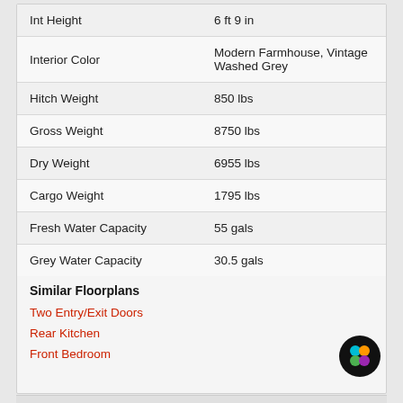| Specification | Value |
| --- | --- |
| Int Height | 6 ft 9 in |
| Interior Color | Modern Farmhouse, Vintage Washed Grey |
| Hitch Weight | 850 lbs |
| Gross Weight | 8750 lbs |
| Dry Weight | 6955 lbs |
| Cargo Weight | 1795 lbs |
| Fresh Water Capacity | 55 gals |
| Grey Water Capacity | 30.5 gals |
Similar Floorplans
Two Entry/Exit Doors
Rear Kitchen
Front Bedroom